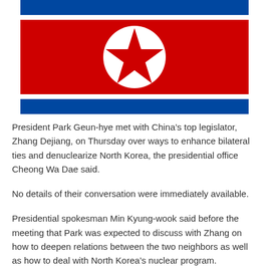[Figure (illustration): North Korean flag — red field with blue borders top and bottom separated by white stripes, a white circle in the center containing a red five-pointed star]
President Park Geun-hye met with China's top legislator, Zhang Dejiang, on Thursday over ways to enhance bilateral ties and denuclearize North Korea, the presidential office Cheong Wa Dae said.
No details of their conversation were immediately available.
Presidential spokesman Min Kyung-wook said before the meeting that Park was expected to discuss with Zhang on how to deepen relations between the two neighbors as well as how to deal with North Korea's nuclear program.